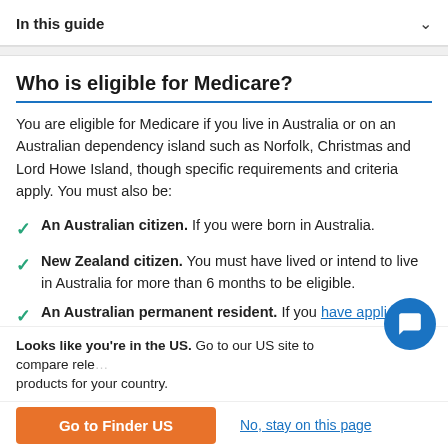In this guide
Who is eligible for Medicare?
You are eligible for Medicare if you live in Australia or on an Australian dependency island such as Norfolk, Christmas and Lord Howe Island, though specific requirements and criteria apply. You must also be:
An Australian citizen. If you were born in Australia.
New Zealand citizen. You must have lived or intend to live in Australia for more than 6 months to be eligible.
An Australian permanent resident. If you have applied for your PR, or are disputing your PR, you are eligible
Looks like you're in the US. Go to our US site to compare rele products for your country.
Go to Finder US
No, stay on this page